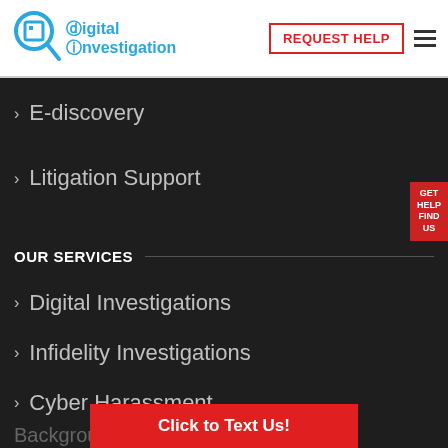Digital Investigation — REQUEST HELP
E-discovery
Litigation Support
OUR SERVICES
Digital Investigations
Infidelity Investigations
Cyber Harassment
Background
Click to Text Us!
GET HELP FIND US